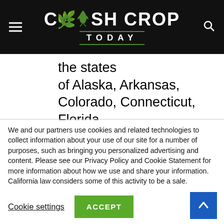Cash Crop Today
the states of Alaska, Arkansas, Colorado, Connecticut, Florida, Iowa, Kentucky, New Jersey, New Mexico, New York, Ohio, Oklahoma, Oregon, Texas, Vermont, Virginia, and West Virginia can now get Verywell
We and our partners use cookies and related technologies to collect information about your use of our site for a number of purposes, such as bringing you personalized advertising and content. Please see our Privacy Policy and Cookie Statement for more information about how we use and share your information.
California law considers some of this activity to be a sale. California residents can opt-out of sales through the “Do Not Sell My Info” button.
Cookie settings   ACCEPT